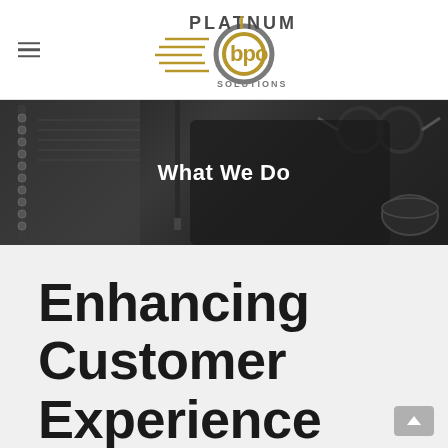[Figure (logo): Platinum BPO Solutions logo with golden gear/infinity-like icon and speed lines]
What We Do
[Figure (photo): Dark themed desk scene with notebook, pen, glasses, tablet, coffee cup on dark background]
Enhancing Customer Experience